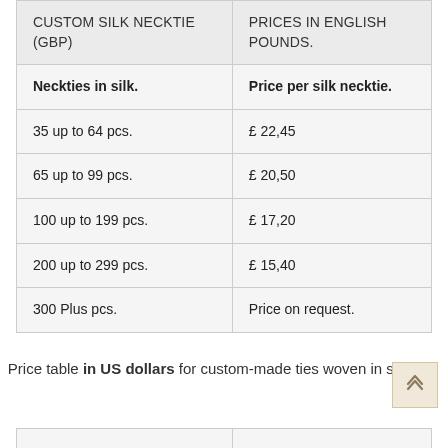| CUSTOM SILK NECKTIE (GBP) | PRICES IN ENGLISH POUNDS. |
| --- | --- |
| Neckties in silk. | Price per silk necktie. |
| 35 up to 64 pcs. | £ 22,45 |
| 65 up to 99 pcs. | £ 20,50 |
| 100 up to 199 pcs. | £ 17,20 |
| 200 up to 299 pcs. | £ 15,40 |
| 300 Plus pcs. | Price on request. |
Price table in US dollars for custom-made ties woven in silk.